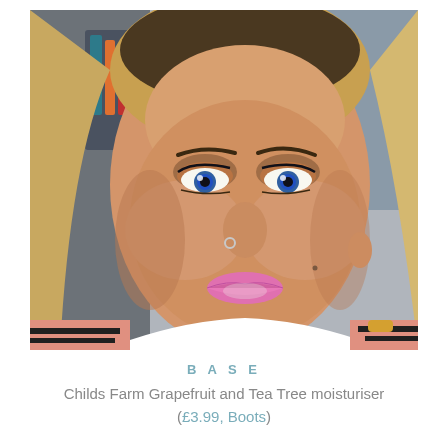[Figure (photo): Close-up selfie of a young woman with blue eyes, makeup including pink lipstick and bronze eyeshadow, nose ring, blonde hair, wearing a pink and black striped top with a white collar.]
BASE
Childs Farm Grapefruit and Tea Tree moisturiser (£3.99, Boots)